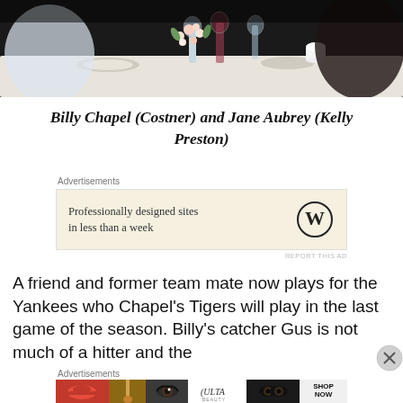[Figure (photo): Photo of people dining at a restaurant table with floral centerpiece, glasses, and white tablecloth. Dark background.]
Billy Chapel (Costner) and Jane Aubrey (Kelly Preston)
[Figure (screenshot): Advertisement: Professionally designed sites in less than a week, WordPress logo]
A friend and former team mate now plays for the Yankees who Chapel's Tigers will play in the last game of the season. Billy's catcher Gus is not much of a hitter and the
[Figure (screenshot): Ulta Beauty advertisement with makeup imagery: lips, brush, eye, Ulta logo, eyes, SHOP NOW]